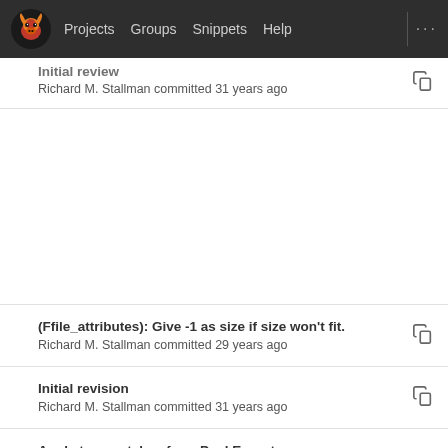Projects  Groups  Snippets  Help  ...
Initial review
Richard M. Stallman committed 31 years ago
(Ffile_attributes): Give -1 as size if size won't fit.
Richard M. Stallman committed 29 years ago
Initial revision
Richard M. Stallman committed 31 years ago
Apply typo patches from Paul Eggert.